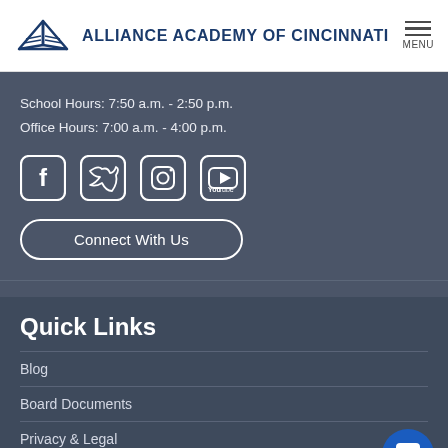ALLIANCE ACADEMY OF CINCINNATI
School Hours: 7:50 a.m. - 2:50 p.m.
Office Hours: 7:00 a.m. - 4:00 p.m.
[Figure (infographic): Social media icons: Facebook, Twitter, Instagram, YouTube]
Connect With Us
Quick Links
Blog
Board Documents
Privacy & Legal
School Operations